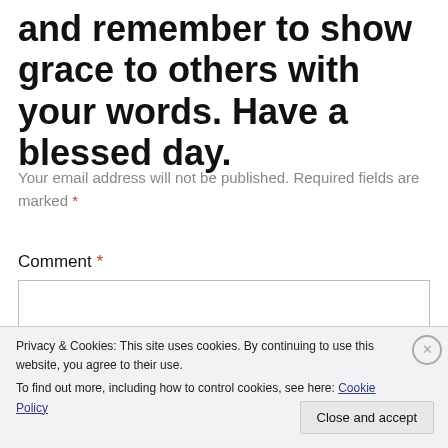and remember to show grace to others with your words. Have a blessed day.
Your email address will not be published. Required fields are marked *
Comment *
Privacy & Cookies: This site uses cookies. By continuing to use this website, you agree to their use.
To find out more, including how to control cookies, see here: Cookie Policy
Close and accept